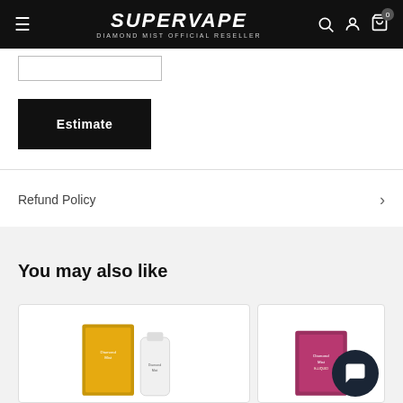SUPERVAPE — DIAMOND MIST OFFICIAL RESELLER
[Input field for postcode/zip]
Estimate
Refund Policy
You may also like
[Figure (photo): Product card showing Diamond Mist e-liquid bottles (yellow/gold box and white bottle) on the left, and a partially visible Diamond Mist product card on the right with a chat support button overlay]